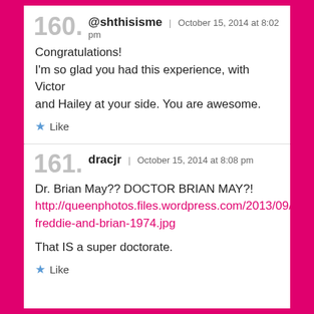160. @shthisisme | October 15, 2014 at 8:02 pm
Congratulations!
I'm so glad you had this experience, with Victor and Hailey at your side. You are awesome.
★ Like
161. dracjr | October 15, 2014 at 8:08 pm
Dr. Brian May?? DOCTOR BRIAN MAY?!
http://queenphotos.files.wordpress.com/2013/09/freddie-and-brian-1974.jpg
That IS a super doctorate.
★ Like